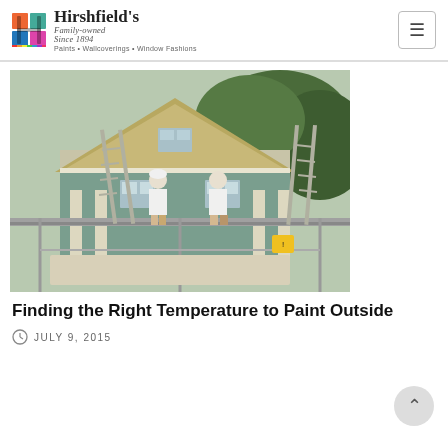Hirshfield's — Family-owned Since 1894 — Paints • Wallcoverings • Window Fashions
[Figure (photo): Two painters in white shirts standing on a metal scaffold platform painting the exterior gable of a large house. Two ladders lean against the scaffold. The house has white columns, green siding, and beige trim.]
Finding the Right Temperature to Paint Outside
JULY 9, 2015